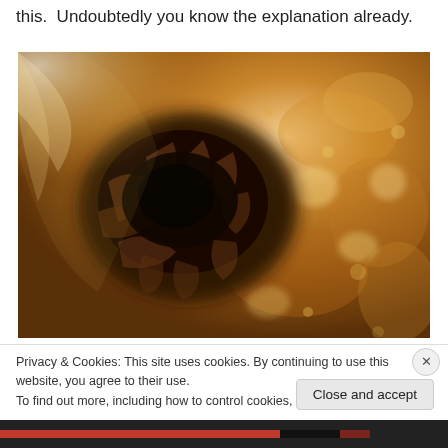this.  Undoubtedly you know the explanation already.
[Figure (photo): Close-up photograph of the sun's surface showing a sunspot with sepia/amber tones, featuring dark central region (umbra) with lighter areas (penumbra) and surrounding solar granulation texture]
Privacy & Cookies: This site uses cookies. By continuing to use this website, you agree to their use.
To find out more, including how to control cookies, see here: Cookie Policy